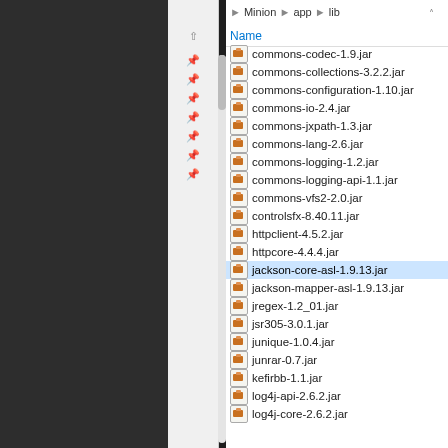Minion > app > lib
commons-codec-1.9.jar
commons-collections-3.2.2.jar
commons-configuration-1.10.jar
commons-io-2.4.jar
commons-jxpath-1.3.jar
commons-lang-2.6.jar
commons-logging-1.2.jar
commons-logging-api-1.1.jar
commons-vfs2-2.0.jar
controlsfx-8.40.11.jar
httpclient-4.5.2.jar
httpcore-4.4.4.jar
jackson-core-asl-1.9.13.jar
jackson-mapper-asl-1.9.13.jar
jregex-1.2_01.jar
jsr305-3.0.1.jar
junique-1.0.4.jar
junrar-0.7.jar
kefirbb-1.1.jar
log4j-api-2.6.2.jar
log4j-core-2.6.2.jar